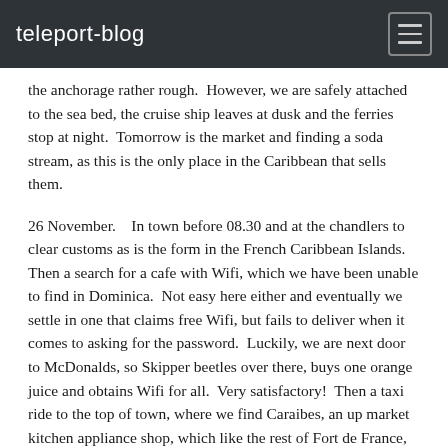teleport-blog
the anchorage rather rough.  However, we are safely attached to the sea bed, the cruise ship leaves at dusk and the ferries stop at night.  Tomorrow is the market and finding a soda stream, as this is the only place in the Caribbean that sells them.
26 November.   In town before 08.30 and at the chandlers to clear customs as is the form in the French Caribbean Islands.  Then a search for a cafe with Wifi, which we have been unable to find in Dominica.  Not easy here either and eventually we settle in one that claims free Wifi, but fails to deliver when it comes to asking for the password.  Luckily, we are next door to McDonalds, so Skipper beetles over there, buys one orange juice and obtains Wifi for all.  Very satisfactory!  Then a taxi ride to the top of town, where we find Caraibes, an up market kitchen appliance shop, which like the rest of Fort de France, was having a face lift.  A charming French Madame sold us a soda stream and 3 cylinders, which we hope will provide fizzy water